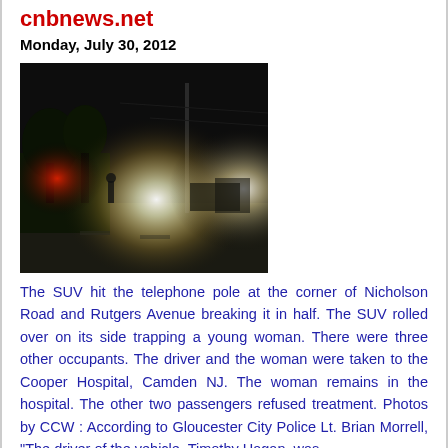cnbnews.net
Monday, July 30, 2012
[Figure (photo): Night scene of an accident site with bright lights from emergency vehicles illuminating a road, with utility poles and trees visible in the background.]
The SUV hit the telephone pole at the corner of Nicholson Road and Rutgers Avenue breaking it in half. The SUV rolled over on its side trapping a young woman. There were three other occupants. The driver and the woman were taken to the Cooper Hospital, Camden NJ. The woman remains in the hospital. The other two passengers refused treatment. Photos by CCW : According to Gloucester City Police Lt. Brian Morrell, "The driver of the vehicle, Timothy Hagan, was